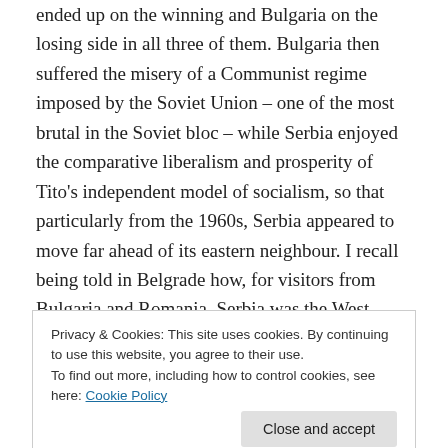ended up on the winning and Bulgaria on the losing side in all three of them. Bulgaria then suffered the misery of a Communist regime imposed by the Soviet Union – one of the most brutal in the Soviet bloc – while Serbia enjoyed the comparative liberalism and prosperity of Tito's independent model of socialism, so that particularly from the 1960s, Serbia appeared to move far ahead of its eastern neighbour. I recall being told in Belgrade how, for visitors from Bulgaria and Romania, Serbia was the West.
For all that, Bulgaria achieved a victory in defeat.
Privacy & Cookies: This site uses cookies. By continuing to use this website, you agree to their use.
To find out more, including how to control cookies, see here: Cookie Policy
borders with its Yugoslav neighbours, by virtue of